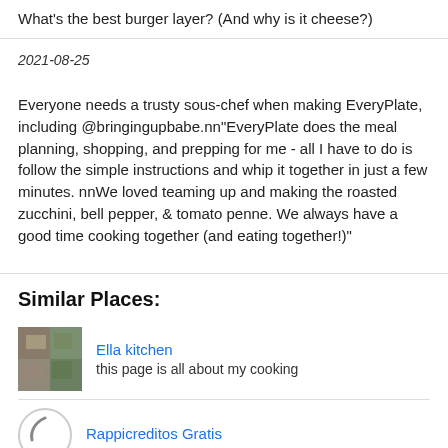What's the best burger layer? (And why is it cheese?)
2021-08-25
Everyone needs a trusty sous-chef when making EveryPlate, including @bringingupbabe.nn"EveryPlate does the meal planning, shopping, and prepping for me - all I have to do is follow the simple instructions and whip it together in just a few minutes. nnWe loved teaming up and making the roasted zucchini, bell pepper, & tomato penne. We always have a good time cooking together (and eating together!)"
Similar Places:
Ella kitchen
this page is all about my cooking
Rappicreditos Gratis